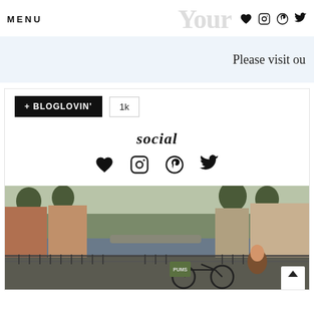MENU | YourW [social icons: heart, instagram, pinterest, twitter]
[Figure (screenshot): Light blue ad banner with text 'Please visit ou...' partially visible]
[Figure (screenshot): Bloglovin follow button with +BLOGLOVIN' label and 1k count, social icons section with heart/instagram/pinterest/twitter, and Amsterdam canal street photo with bicycle featuring PUMS basket and woman with brown hair in foreground]
+ BLOGLOVIN'
1k
social
[Figure (photo): Amsterdam canal scene with bicycles, trees, buildings, and a woman with brown hair standing near a bicycle with a PUMS branded basket]